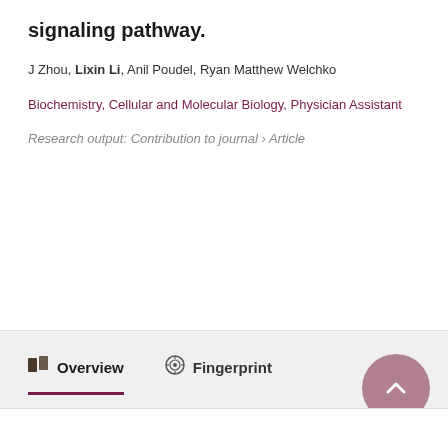signaling pathway.
J Zhou, Lixin Li, Anil Poudel, Ryan Matthew Welchko
Biochemistry, Cellular and Molecular Biology, Physician Assistant
Research output: Contribution to journal › Article
Overview
Fingerprint